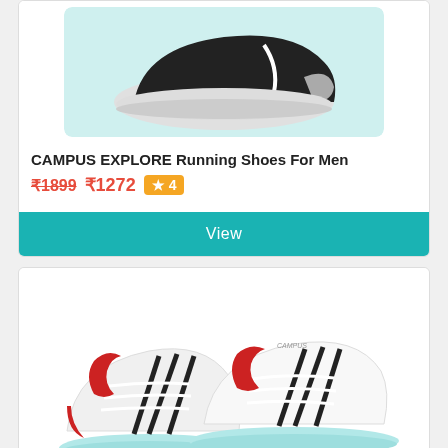[Figure (photo): Black and white campus running shoes on light teal background, top view showing the toe and upper portion]
CAMPUS EXPLORE Running Shoes For Men
₹1899 ₹1272 ★ 4
View
[Figure (photo): White Campus running shoes with red C logo and black stripes, light blue sole, pair shown from the side]